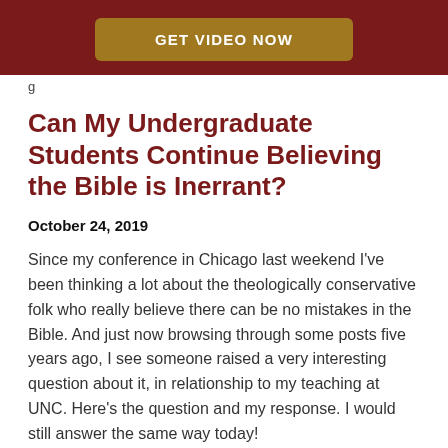[Figure (other): Dark red header bar with a gold/brown 'GET VIDEO NOW' button]
g
Can My Undergraduate Students Continue Believing the Bible is Inerrant?
October 24, 2019
Since my conference in Chicago last weekend I've been thinking a lot about the theologically conservative folk who really believe there can be no mistakes in the Bible.  And just now browsing through some posts five years ago, I see someone raised a very interesting question about it, in relationship to my teaching at UNC.  Here's the question and my response.  I would still answer the same way today!